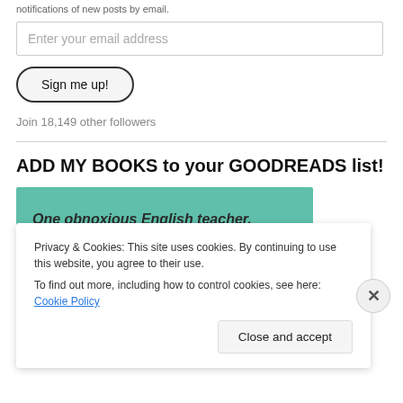notifications of new posts by email.
Enter your email address
Sign me up!
Join 18,149 other followers
ADD MY BOOKS to your GOODREADS list!
[Figure (illustration): Teal/green book banner with italic bold text: 'One obnoxious English teacher.' and 'Twelve tales of his death.']
Privacy & Cookies: This site uses cookies. By continuing to use this website, you agree to their use.
To find out more, including how to control cookies, see here: Cookie Policy
Close and accept